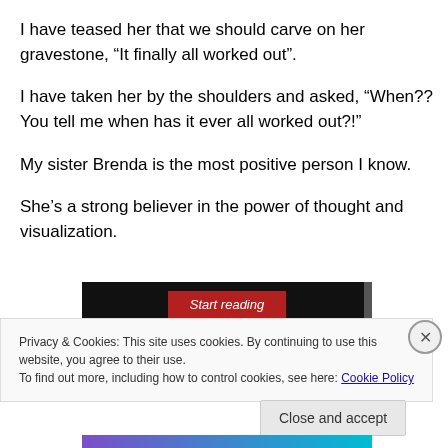I have teased her that we should carve on her gravestone, “It finally all worked out”.
I have taken her by the shoulders and asked, “When?? You tell me when has it ever all worked out?!”
My sister Brenda is the most positive person I know.
She’s a strong believer in the power of thought and visualization.
[Figure (screenshot): Black bar with red 'Start reading' button in italic text]
Privacy & Cookies: This site uses cookies. By continuing to use this website, you agree to their use.
To find out more, including how to control cookies, see here: Cookie Policy
Close and accept